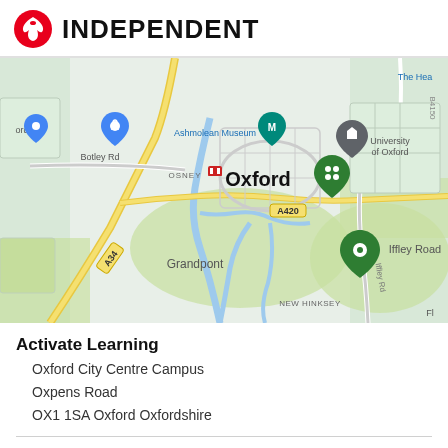INDEPENDENT
[Figure (map): Google Maps view of Oxford city centre showing Ashmolean Museum, University of Oxford, Iffley Road, Grandpont, New Hinksey, Osney, Botley Rd, A420, A34, B4150 road labels and map pins for key locations.]
Activate Learning
Oxford City Centre Campus
Oxpens Road
OX1 1SA Oxford Oxfordshire
› Show phone number